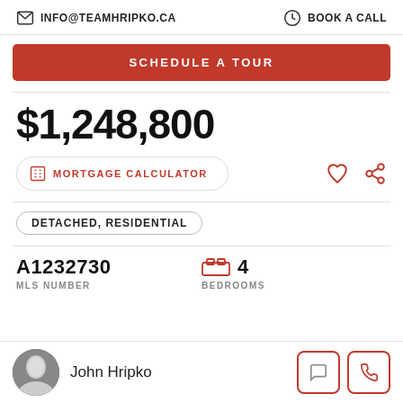INFO@TEAMHRIPKO.CA   BOOK A CALL
SCHEDULE A TOUR
$1,248,800
MORTGAGE CALCULATOR
DETACHED, RESIDENTIAL
A1232730
MLS NUMBER
4
BEDROOMS
John Hripko